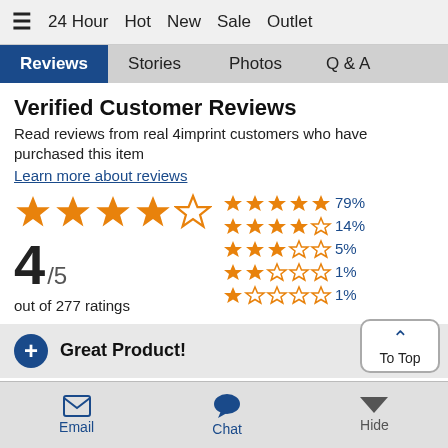☰  24 Hour  Hot  New  Sale  Outlet
Reviews  Stories  Photos  Q & A
Verified Customer Reviews
Read reviews from real 4imprint customers who have purchased this item
Learn more about reviews
[Figure (other): Star rating display showing 4 out of 5 stars, score 4/5 out of 277 ratings, with breakdown: 5 stars 79%, 4 stars 14%, 3 stars 5%, 2 stars 1%, 1 star 1%]
Great Product!
[Figure (other): 5 filled orange stars]
We order these quite frequently
[Figure (other): To Top button with upward chevron]
Email  Chat  Hide